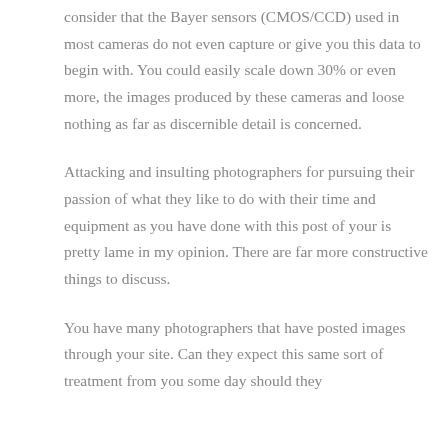consider that the Bayer sensors (CMOS/CCD) used in most cameras do not even capture or give you this data to begin with. You could easily scale down 30% or even more, the images produced by these cameras and loose nothing as far as discernible detail is concerned.
Attacking and insulting photographers for pursuing their passion of what they like to do with their time and equipment as you have done with this post of your is pretty lame in my opinion. There are far more constructive things to discuss.
You have many photographers that have posted images through your site. Can they expect this same sort of treatment from you some day should they